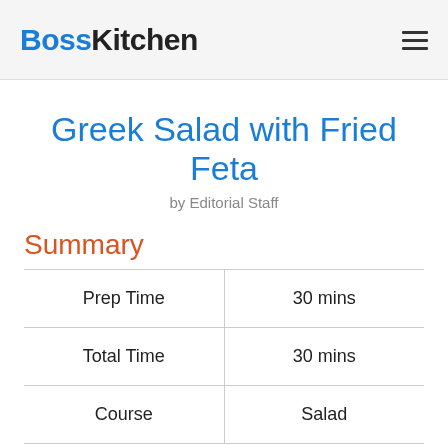BossKitchen
Greek Salad with Fried Feta
by Editorial Staff
Summary
|  |  |
| --- | --- |
| Prep Time | 30 mins |
| Total Time | 30 mins |
| Course | Salad |